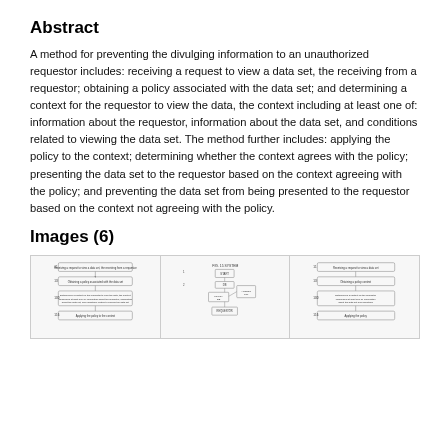Abstract
A method for preventing the divulging information to an unauthorized requestor includes: receiving a request to view a data set, the receiving from a requestor; obtaining a policy associated with the data set; and determining a context for the requestor to view the data, the context including at least one of: information about the requestor, information about the data set, and conditions related to viewing the data set. The method further includes: applying the policy to the context; determining whether the context agrees with the policy; presenting the data set to the requestor based on the context agreeing with the policy; and preventing the data set from being presented to the requestor based on the context not agreeing with the policy.
Images (6)
[Figure (flowchart): Three flowchart/diagram thumbnails showing patent method steps and system diagrams]